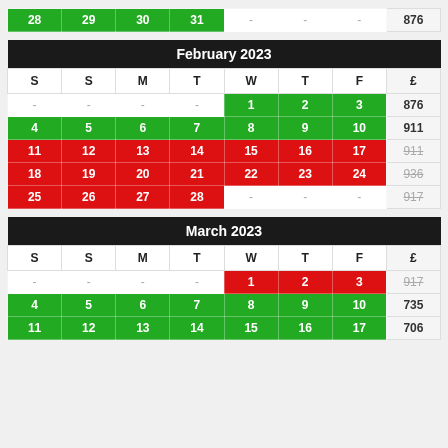| S | S | M | T | W | T | F | £ |
| --- | --- | --- | --- | --- | --- | --- | --- |
| 28 | 29 | 30 | 31 | - | - | - | 876 |
| S | S | M | T | W | T | F | £ |
| --- | --- | --- | --- | --- | --- | --- | --- |
| - | - | - | - | 1 | 2 | 3 | 876 |
| 4 | 5 | 6 | 7 | 8 | 9 | 10 | 911 |
| 11 | 12 | 13 | 14 | 15 | 16 | 17 | 911 |
| 18 | 19 | 20 | 21 | 22 | 23 | 24 | 936 |
| 25 | 26 | 27 | 28 | - | - | - | 917 |
| S | S | M | T | W | T | F | £ |
| --- | --- | --- | --- | --- | --- | --- | --- |
| - | - | - | - | 1 | 2 | 3 | 917 |
| 4 | 5 | 6 | 7 | 8 | 9 | 10 | 735 |
| 11 | 12 | 13 | 14 | 15 | 16 | 17 | 706 |